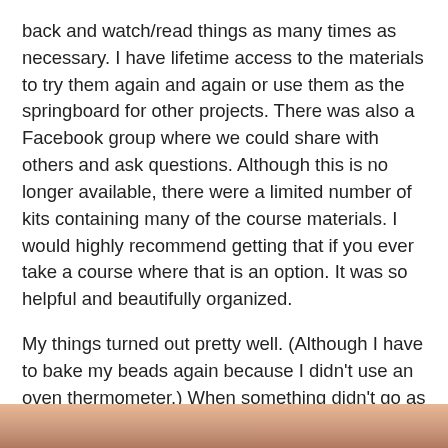back and watch/read things as many times as necessary. I have lifetime access to the materials to try them again and again or use them as the springboard for other projects. There was also a Facebook group where we could share with others and ask questions. Although this is no longer available, there were a limited number of kits containing many of the course materials. I would highly recommend getting that if you ever take a course where that is an option. It was so helpful and beautifully organized.
My things turned out pretty well. (Although I have to bake my beads again because I didn't use an oven thermometer.) When something didn't go as planned, I was able to figure out why and knew how to fix it or re-do it based on the excellent course information and/or answers from Heather. Here are some of the beads in process.
[Figure (photo): Partial view of beads in process, showing a cropped image at the bottom of the page with warm skin/clay tones.]